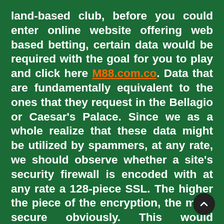land-based club, before you could enter online website offering web based betting, certain data would be required with the goal for you to play and click here M88.com.co. Data that are fundamentally equivalent to the ones that they request in the Bellagio or Caesar's Palace. Since we as a whole realize that these data might be utilized by spammers, at any rate, we should observe whether a site's security firewall is encoded with at any rate a 128-piece SSL. The higher the piece of the encryption, the more secure obviously. This would guarantee players that the site they are playing in is not defenseless against programmers who need to take charge card data and so forth.